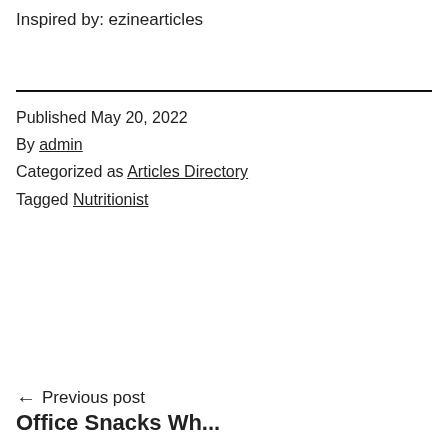Inspired by: ezinearticles
Published May 20, 2022
By admin
Categorized as Articles Directory
Tagged Nutritionist
← Previous post
Office Snacks Wh...